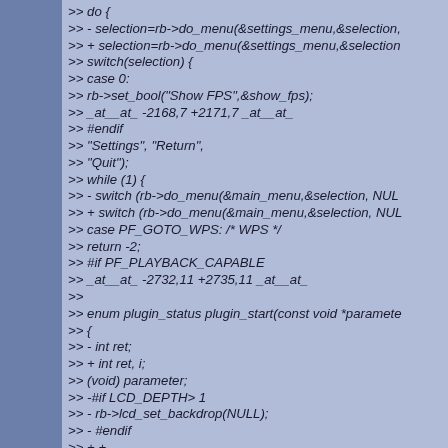[Figure (other): Code diff block showing changes to plugin source code with >> prefix lines, including do block, selection assignments, switch statements, menu calls, preprocessor directives, and plugin_start function changes]